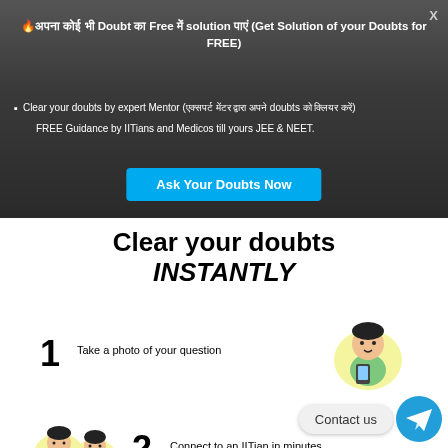🔥अपना कोई भी Doubt का Free में solution पाएं (Get Solution of your Doubts for FREE)
Clear your doubts by expert Mentor (एक्सपर्ट मेंटर द्वारा अपने doubts को क्लियर करें)
FREE Guidance by IITians and Medicos till yours JEE & NEET.
[Figure (other): Cyan/teal button labeled 'Ask Your Doubts Now']
[Figure (infographic): White card with bold heading 'Clear your doubts INSTANTLY' and three numbered steps: 1. Take a photo of your question (illustrated with character holding phone), 2. Connect to an IITian in minutes (illustrated with two characters with phones), 3. Learn over a live video call (illustrated with character and screen). Contact us button and Telegram icon at bottom right.]